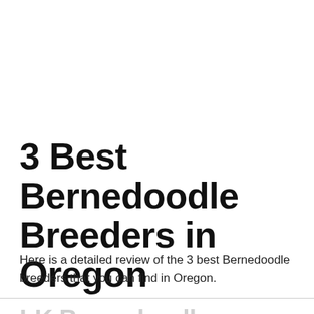3 Best Bernedoodle Breeders in Oregon
Here is a detailed review of the 3 best Bernedoodle breeders that you can find in Oregon.
LK Bernedoodles